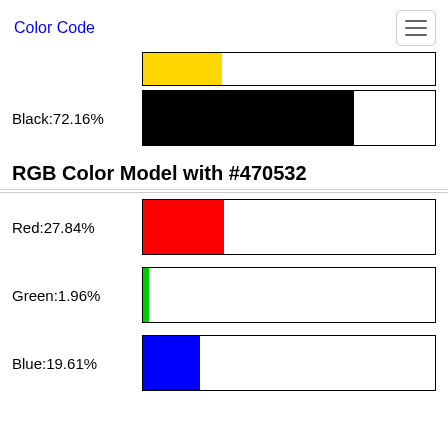Color Code
[Figure (bar-chart): Yellow partial bar]
Black:72.16%
[Figure (bar-chart): Black:72.16%]
RGB Color Model with #470532
Red:27.84%
[Figure (bar-chart): Red:27.84%]
Green:1.96%
[Figure (bar-chart): Green:1.96%]
Blue:19.61%
[Figure (bar-chart): Blue:19.61%]